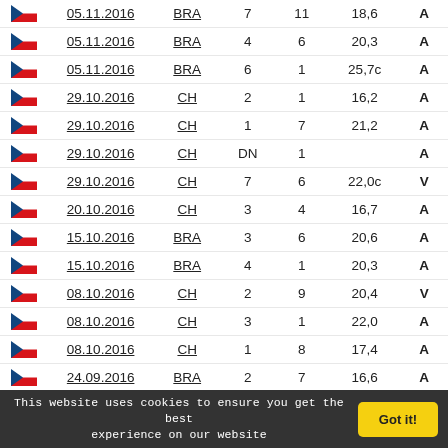| Flag | Date | Competition | Col1 | Col2 | Score | Result |
| --- | --- | --- | --- | --- | --- | --- |
| CZE | 05.11.2016 | BRA | 7 | 11 | 18,6 | A |
| CZE | 05.11.2016 | BRA | 4 | 6 | 20,3 | A |
| CZE | 05.11.2016 | BRA | 6 | 1 | 25,7c | A |
| CZE | 29.10.2016 | CH | 2 | 1 | 16,2 | A |
| CZE | 29.10.2016 | CH | 1 | 7 | 21,2 | A |
| CZE | 29.10.2016 | CH | DN | 1 |  | A |
| CZE | 29.10.2016 | CH | 7 | 6 | 22,0c | V |
| CZE | 20.10.2016 | CH | 3 | 4 | 16,7 | A |
| CZE | 15.10.2016 | BRA | 3 | 6 | 20,6 | A |
| CZE | 15.10.2016 | BRA | 4 | 1 | 20,3 | A |
| CZE | 08.10.2016 | CH | 2 | 9 | 20,4 | V |
| CZE | 08.10.2016 | CH | 3 | 1 | 22,0 | A |
| CZE | 08.10.2016 | CH | 1 | 8 | 17,4 | A |
| CZE | 24.09.2016 | BRA | 2 | 7 | 16,6 | A |
| CZE | 17.09.2016 | CH | 2 | 2 | 19,8 | A |
| CZE | 03.09.2016 | BRA | 4 | 5 | 18,0 | A |
This website uses cookies to ensure you get the best experience on our website  Got it!